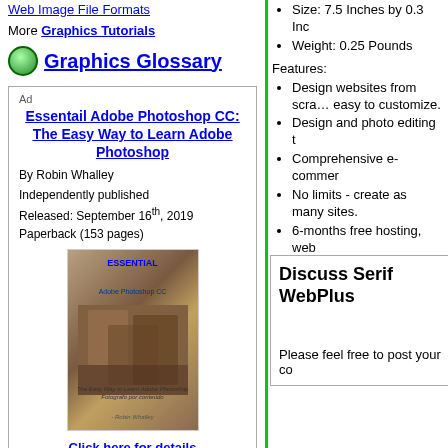Web Image File Formats
More Graphics Tutorials
Graphics Glossary
Ad
Essentail Adobe Photoshop CC: The Easy Way to Learn Adobe Photoshop
By Robin Whalley
Independently published
Released: September 16th, 2019
Paperback (153 pages)
Click here for details
Size: 7.5 Inches by 0.3 Inc
Weight: 0.25 Pounds
Features:
Design websites from scra... easy to customize.
Design and photo editing t
Comprehensive e-commer
No limits - create as many sites.
6-months free hosting, web
Click here for more information
Discuss Serif WebPlus
Please feel free to post your co